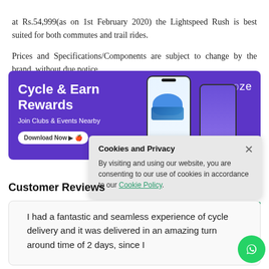at Rs.54,999(as on 1st February 2020) the Lightspeed Rush is best suited for both commutes and trail rides.
Prices and Specifications/Components are subject to change by the brand, without due notice.
[Figure (infographic): Crooze app advertisement banner with purple background. Text reads: Cycle & Earn Rewards. Join Clubs & Events Nearby. Download Now buttons. Shows smartphone mockups with cycling gear images. Crooze logo in top right.]
[Figure (screenshot): Cookies and Privacy popup overlay. Text: By visiting and using our website, you are consenting to our use of cookies in accordance to our Cookie Policy. Close button (x) in top right.]
Customer Reviews
I had a fantastic and seamless experience of cycle delivery and it was delivered in an amazing turn around time of 2 days, since I